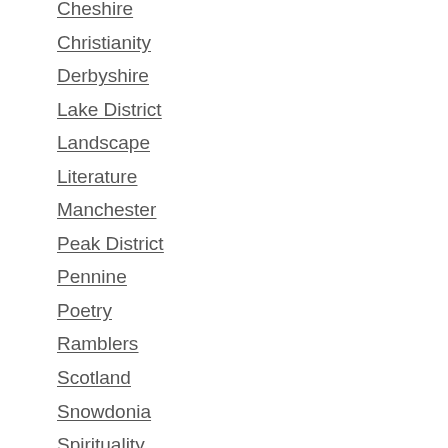Cheshire
Christianity
Derbyshire
Lake District
Landscape
Literature
Manchester
Peak District
Pennine
Poetry
Ramblers
Scotland
Snowdonia
Spirituality
Staffordshire
Travel
Uncategorized
Wales
Yorkshire